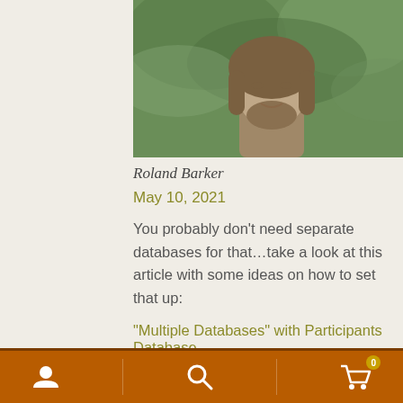[Figure (photo): Profile photo of Roland Barker, a man with long gray-brown hair and beard, outdoors with green foliage background]
Roland Barker
May 10, 2021
You probably don’t need separate databases for that…take a look at this article with some ideas on how to set that up:
“Multiple Databases” with Participants Database
[Figure (photo): Profile photo of a man with glasses, light hair, wearing a plaid shirt, light background]
Navigation footer with user icon, search icon, and cart icon with badge